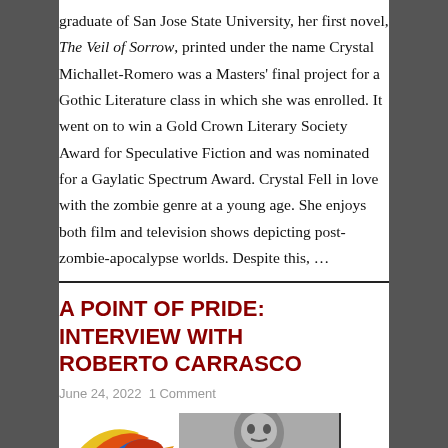graduate of San Jose State University, her first novel, The Veil of Sorrow, printed under the name Crystal Michallet-Romero was a Masters' final project for a Gothic Literature class in which she was enrolled. It went on to win a Gold Crown Literary Society Award for Speculative Fiction and was nominated for a Gaylatic Spectrum Award. Crystal Fell in love with the zombie genre at a young age. She enjoys both film and television shows depicting post-zombie-apocalypse worlds. Despite this, …
A POINT OF PRIDE: INTERVIEW WITH ROBERTO CARRASCO
June 24, 2022  1 Comment
[Figure (photo): Bottom of page showing partial images: a colorful bird illustration on the left and a grayscale portrait photo on the right, partially visible]